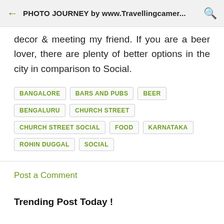PHOTO JOURNEY by www.Travellingcamer...
decor & meeting my friend. If you are a beer lover, there are plenty of better options in the city in comparison to Social.
BANGALORE
BARS AND PUBS
BEER
BENGALURU
CHURCH STREET
CHURCH STREET SOCIAL
FOOD
KARNATAKA
ROHIN DUGGAL
SOCIAL
Post a Comment
Trending Post Today !